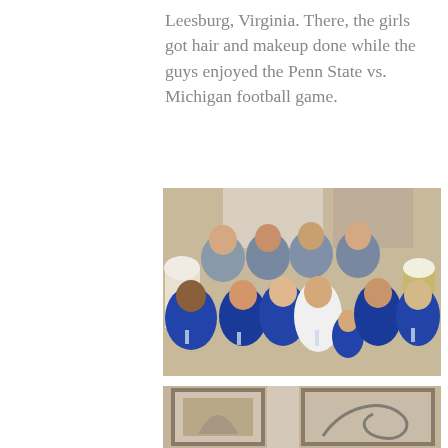Leesburg, Virginia. There, the girls got hair and makeup done while the guys enjoyed the Penn State vs. Michigan football game.
[Figure (photo): Group photo of bride and bridesmaids in navy blue satin robes with monograms, holding champagne glasses, sitting together on a bed. The bride wears a white robe in the center.]
[Figure (photo): Partial view of framed artwork and room decor in background, partially cropped at bottom of page.]